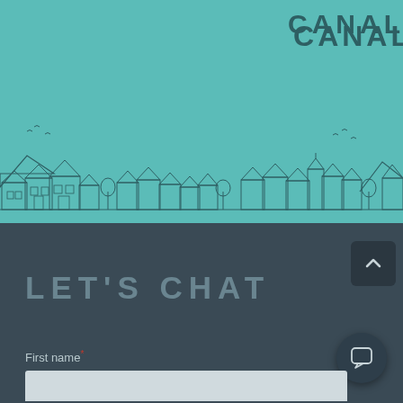[Figure (illustration): Teal/turquoise background with a skyline illustration of houses and buildings drawn in outline style at the bottom, with birds and mountains in the distance. Partially visible text 'CANAL' in dark teal at upper right.]
CANAL
[Figure (screenshot): Dark blue-grey section with 'LET'S CHAT' heading, a scroll-up arrow button at top right, a chat bubble icon at bottom right, a 'First name *' label, and a light grey input field at the bottom.]
LET'S CHAT
First name *